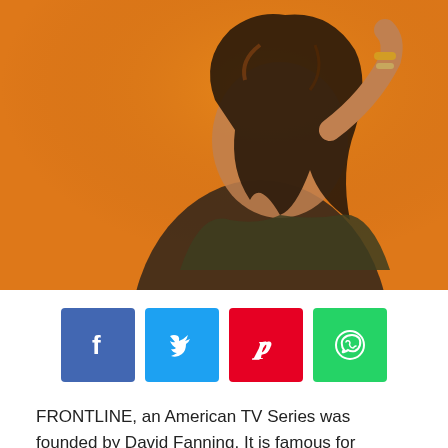[Figure (photo): Woman with brown hair posed against an orange background, arm raised]
[Figure (infographic): Social media sharing buttons: Facebook (blue), Twitter (light blue), Pinterest (red), WhatsApp (green)]
FRONTLINE, an American TV Series was founded by David Fanning. It is famous for highlighting important issues through their documentaries. It has also won several awards for creative and interactive production content (PBS Frontline). They on aired a documentary Generation Like in which they revealed trends of advertising on soial media.
[Figure (photo): Two partially visible photos at bottom of page showing people]